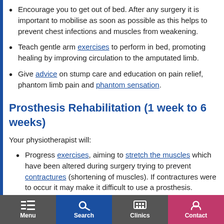Encourage you to get out of bed. After any surgery it is important to mobilise as soon as possible as this helps to prevent chest infections and muscles from weakening.
Teach gentle arm exercises to perform in bed, promoting healing by improving circulation to the amputated limb.
Give advice on stump care and education on pain relief, phantom limb pain and phantom sensation.
Prosthesis Rehabilitation (1 week to 6 weeks)
Your physiotherapist will:
Progress exercises, aiming to stretch the muscles which have been altered during surgery trying to prevent contractures (shortening of muscles). If contractures were to occur it may make it difficult to use a prosthesis.